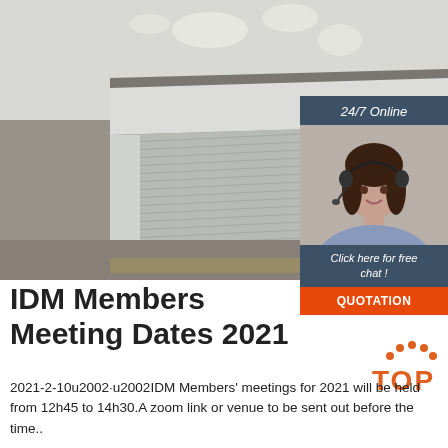[Figure (photo): Stack of white/light grey metal sheets or aluminium panels stored in a warehouse, viewed at an angle.]
[Figure (photo): Online chat sidebar with '24/7 Online' header, customer service agent photo, 'Click here for free chat!' text, and orange QUOTATION button.]
IDM Members Meeting Dates 2021
[Figure (logo): Orange TOP logo with orange dots above the letters forming an arc.]
2021-2-10u2002·u2002IDM Members' meetings for 2021 will be held from 12h45 to 14h30.A zoom link or venue to be sent out before the time..